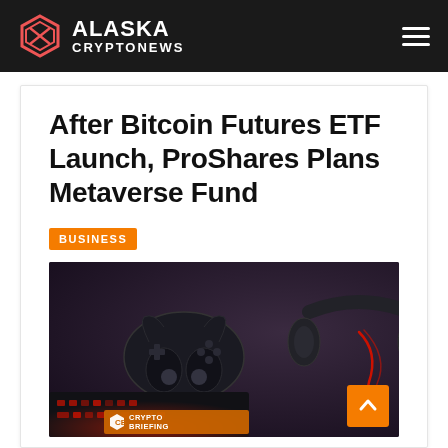Alaska Crypto News
After Bitcoin Futures ETF Launch, ProShares Plans Metaverse Fund
BUSINESS
[Figure (photo): Dark-themed gaming setup photo showing a game controller, headphones, and a red-backlit keyboard. Crypto Briefing watermark visible at the bottom.]